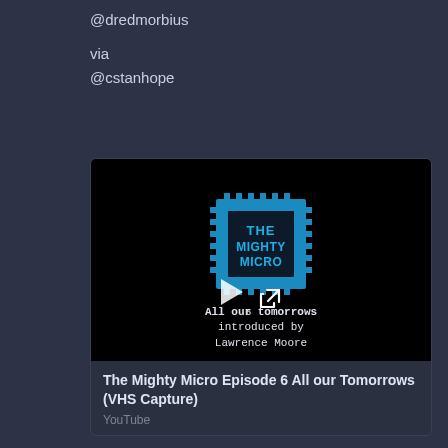@dredmorbius

via
@cstanhope
[Figure (screenshot): Video thumbnail for 'The Mighty Micro Episode 6 All our Tomorrows (VHS Capture)' showing a retro blue chip-style logo with 'THE MIGHTY MICRO' text, a play button, an external link icon, episode number 6, and the text 'All our tomorrows introduced by Lawrence Moore' on a black background.]
The Mighty Micro Episode 6 All our Tomorrows (VHS Capture)
YouTube